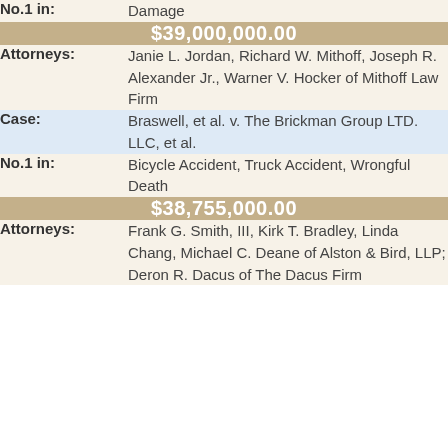| No.1 in: | Damage |
| $39,000,000.00 |  |
| Attorneys: | Janie L. Jordan, Richard W. Mithoff, Joseph R. Alexander Jr., Warner V. Hocker of Mithoff Law Firm |
| Case: | Braswell, et al. v. The Brickman Group LTD. LLC, et al. |
| No.1 in: | Bicycle Accident, Truck Accident, Wrongful Death |
| $38,755,000.00 |  |
| Attorneys: | Frank G. Smith, III, Kirk T. Bradley, Linda Chang, Michael C. Deane of Alston & Bird, LLP; Deron R. Dacus of The Dacus Firm |